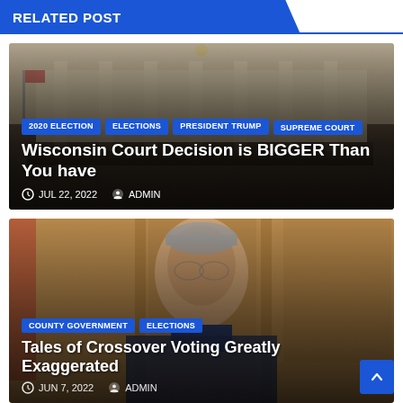RELATED POST
[Figure (photo): Wisconsin Supreme Court chamber interior with murals and columns, used as background for article card]
2020 ELECTION  ELECTIONS  PRESIDENT TRUMP  SUPREME COURT
Wisconsin Court Decision is BIGGER Than You have
JUL 22, 2022  ADMIN
[Figure (photo): Close-up portrait of a gray-haired man in front of a wooden background, used as article card image]
COUNTY GOVERNMENT  ELECTIONS
Tales of Crossover Voting Greatly Exaggerated
JUN 7, 2022  ADMIN